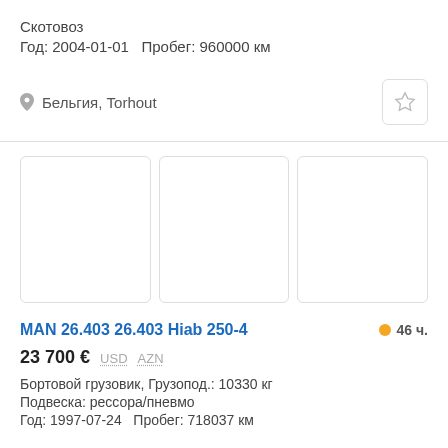Скотовоз
Год: 2004-01-01   Пробег: 960000 км
📍 Бельгия, Torhout
[Figure (photo): Three placeholder image boxes for vehicle photos]
MAN 26.403 26.403 Hiab 250-4
46 ч.
23 700 €   USD   AZN
Бортовой грузовик, Грузопод.: 10330 кг
Подвеска: рессора/пневмо
Год: 1997-07-24   Пробег: 718037 км